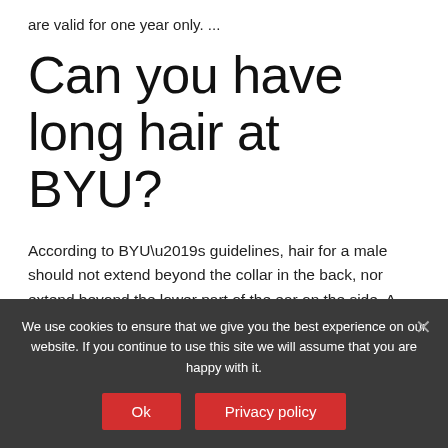are valid for one year only. ...
Can you have long hair at BYU?
According to BYU’s guidelines, hair for a male should not extend beyond the collar in the back, nor extend beyond the lower part of the ear on the side. A non-BYU student or other LDS adult may grow their hair out to any length they choose and still be allowed access to LDS meetinghouses and temples.
We use cookies to ensure that we give you the best experience on our website. If you continue to use this site we will assume that you are happy with it.
Ok
Privacy policy